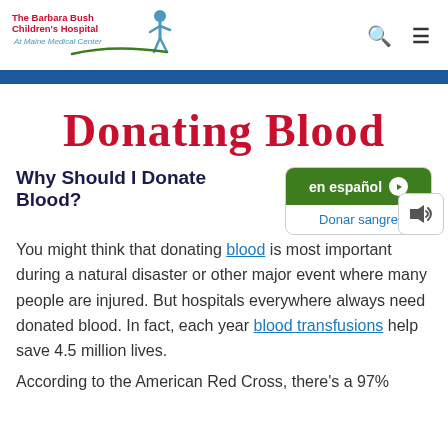[Figure (logo): The Barbara Bush Children's Hospital At Maine Medical Center logo with blue figure and green swoosh]
Donating Blood
Why Should I Donate Blood?
[Figure (other): en español button linking to Donar sangre]
You might think that donating blood is most important during a natural disaster or other major event where many people are injured. But hospitals everywhere always need donated blood. In fact, each year blood transfusions help save 4.5 million lives.
According to the American Red Cross, there's a 97%